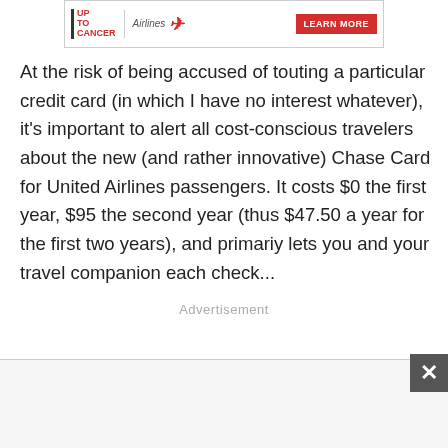[Figure (other): Advertisement banner for Up To Cancer and Airlines with a Learn More button]
At the risk of being accused of touting a particular credit card (in which I have no interest whatever), it's important to alert all cost-conscious travelers about the new (and rather innovative) Chase Card for United Airlines passengers. It costs $0 the first year, $95 the second year (thus $47.50 a year for the first two years), and primariy lets you and your travel companion each check...
Advertisement
[Figure (other): Advertisement bar at the bottom with a close/dismiss button (X)]